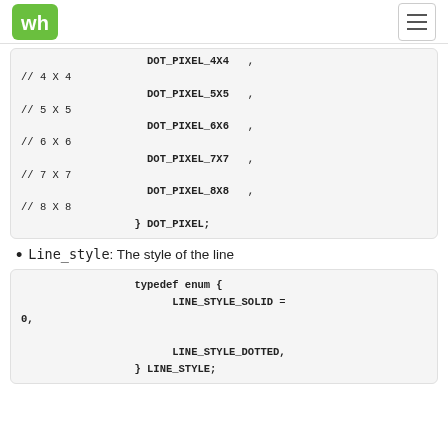WH logo and navigation
DOT_PIXEL_4X4 ,
// 4 X 4
DOT_PIXEL_5X5 ,
// 5 X 5
DOT_PIXEL_6X6 ,
// 6 X 6
DOT_PIXEL_7X7 ,
// 7 X 7
DOT_PIXEL_8X8 ,
// 8 X 8
} DOT_PIXEL;
Line_style: The style of the line
typedef enum {
                LINE_STYLE_SOLID = 0,

                LINE_STYLE_DOTTED,
} LINE_STYLE;